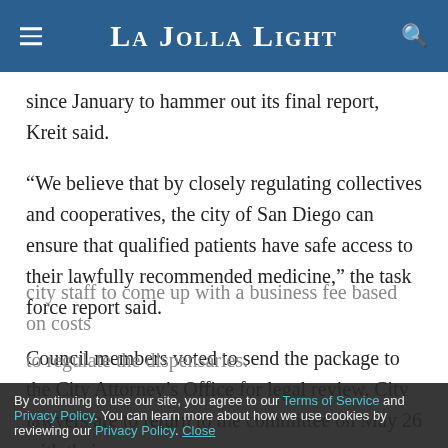La Jolla Light
since January to hammer out its final report, Kreit said.
“We believe that by closely regulating collectives and cooperatives, the city of San Diego can ensure that qualified patients have safe access to their lawfully recommended medicine,” the task force report said.
Council members voted to send the package to the City Attorney’s Office for legal review. City lawyers are to return to the committee on May 26 with their
city staff to come up with a business fee based on costs to regulate the dispensaries.
By continuing to use our site, you agree to our Terms of Service and Privacy Policy. You can learn more about how we use cookies by reviewing our Privacy Policy. Close